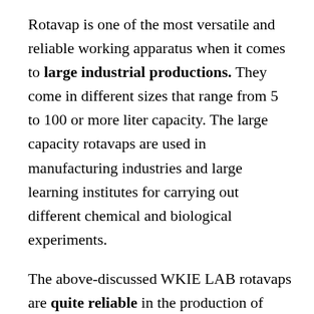Rotavap is one of the most versatile and reliable working apparatus when it comes to large industrial productions. They come in different sizes that range from 5 to 100 or more liter capacity. The large capacity rotavaps are used in manufacturing industries and large learning institutes for carrying out different chemical and biological experiments.
The above-discussed WKIE LAB rotavaps are quite reliable in the production of different products; like medicine, detergents and for use in research institutes. They are made of